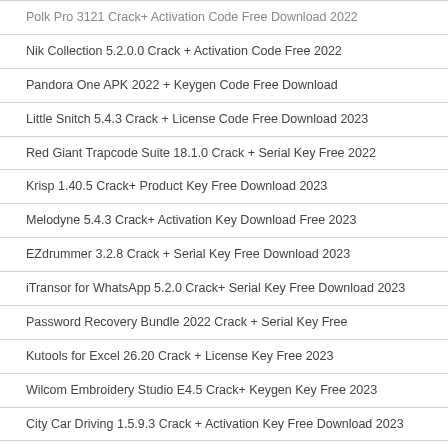Polk Pro 3121 Crack+ Activation Code Free Download 2022
Nik Collection 5.2.0.0 Crack + Activation Code Free 2022
Pandora One APK 2022 + Keygen Code Free Download
Little Snitch 5.4.3 Crack + License Code Free Download 2023
Red Giant Trapcode Suite 18.1.0 Crack + Serial Key Free 2022
Krisp 1.40.5 Crack+ Product Key Free Download 2023
Melodyne 5.4.3 Crack+ Activation Key Download Free 2023
EZdrummer 3.2.8 Crack + Serial Key Free Download 2023
iTransor for WhatsApp 5.2.0 Crack+ Serial Key Free Download 2023
Password Recovery Bundle 2022 Crack + Serial Key Free
Kutools for Excel 26.20 Crack + License Key Free 2023
Wilcom Embroidery Studio E4.5 Crack+ Keygen Key Free 2023
City Car Driving 1.5.9.3 Crack + Activation Key Free Download 2023
Need For Speed Hot Pursuit Crack + Keygen Key Free 2023
Bandizip Photo Cleaner 7.0.3.10 Crack+ License Key Free 2023